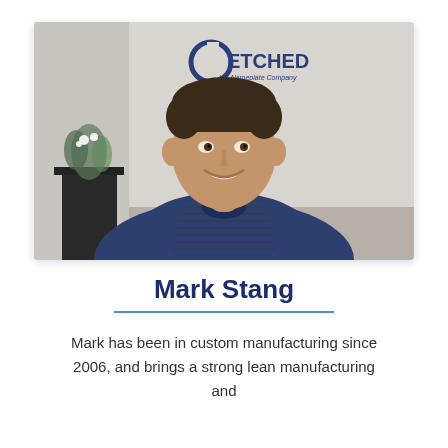[Figure (photo): Professional headshot of Mark Stang smiling, wearing a navy striped polo shirt, seated in front of a wall with the Etched logo (a circular logo with text 'ETCHED the Nameplate Company').]
Mark Stang
Mark has been in custom manufacturing since 2006, and brings a strong lean manufacturing and